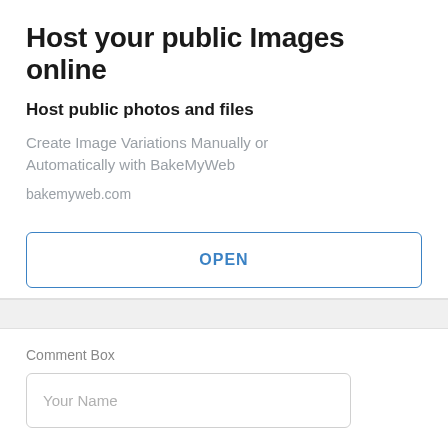Host your public Images online
Host public photos and files
Create Image Variations Manually or Automatically with BakeMyWeb
bakemyweb.com
OPEN
Comment Box
Your Name